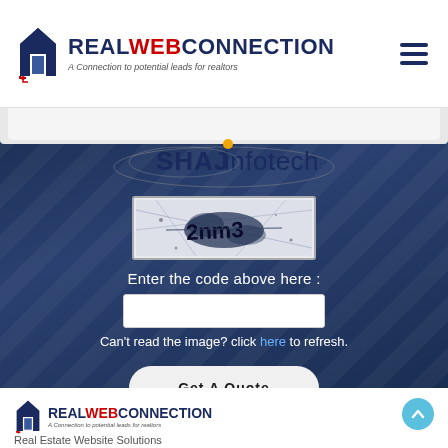REALWEBCONNECTION — A Connection to potential leads for realtors
[Figure (logo): SHAJ infotech logo with arc design and yellow dot]
[Figure (other): CAPTCHA image showing distorted text '2nm3']
Enter the code above here :
Can't read the image? click here to refresh.
Get A Quote
REALWEBCONNECTION — A Connection to potential leads for realtors
Real Estate Website Solutions